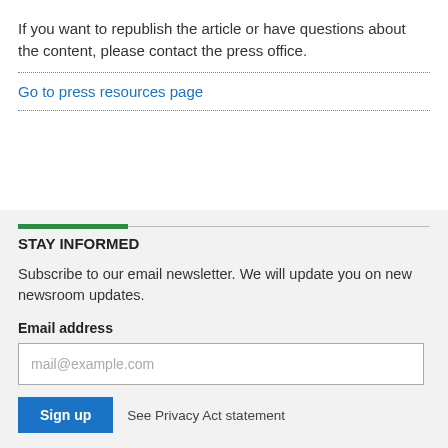If you want to republish the article or have questions about the content, please contact the press office.
Go to press resources page
STAY INFORMED
Subscribe to our email newsletter. We will update you on new newsroom updates.
Email address
mail@example.com
Sign up   See Privacy Act statement